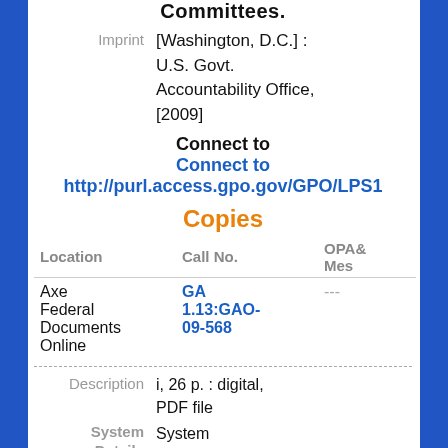Committees.
Imprint	[Washington, D.C.] : U.S. Govt. Accountability Office, [2009]
Connect to
Connect to http://purl.access.gpo.gov/GPO/LPS1...
Copies
| Location | Call No. | OPA Message |
| --- | --- | --- |
| Axe Federal Documents Online | GA 1.13:GAO-09-568 | --- |
Description	i, 26 p. : digital, PDF file
System Details	System requirements: